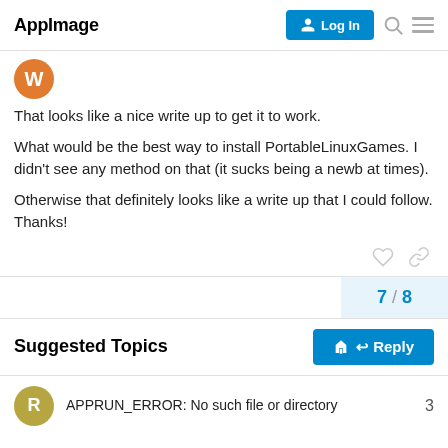AppImage
That looks like a nice write up to get it to work.
What would be the best way to install PortableLinuxGames. I didn't see any method on that (it sucks being a newb at times).
Otherwise that definitely looks like a write up that I could follow. Thanks!
7 / 8
Suggested Topics
APPRUN_ERROR: No such file or directory